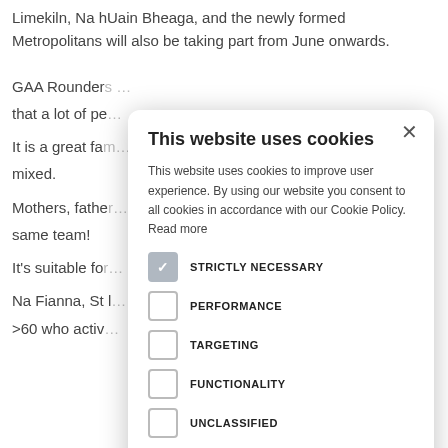Limekiln, Na hUain Bheaga, and the newly formed Metropolitans will also be taking part from June onwards.
GAA Rounder... that a lot of pe...
It is a great fa... mixed.
Mothers, fathe... same team!
It's suitable fo...
Na Fianna, St l... >60 who activ...
[Figure (screenshot): Cookie consent modal dialog overlay on a webpage. Title: 'This website uses cookies'. Body text: 'This website uses cookies to improve user experience. By using our website you consent to all cookies in accordance with our Cookie Policy. Read more'. Checkboxes: STRICTLY NECESSARY (checked), PERFORMANCE (unchecked), TARGETING (unchecked), FUNCTIONALITY (unchecked), UNCLASSIFIED (unchecked). Buttons: ACCEPT ALL, DECLINE ALL. Footer: gear icon + SHOW DETAILS.]